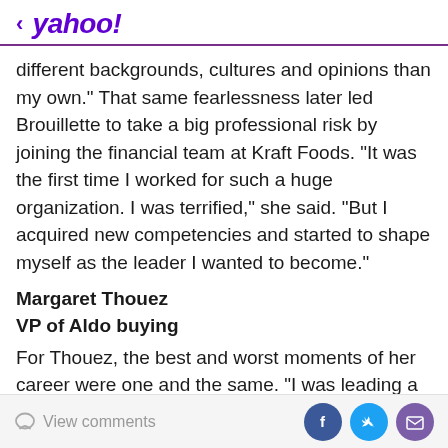< yahoo!
different backgrounds, cultures and opinions than my own.” That same fearlessness later led Brouillette to take a big professional risk by joining the financial team at Kraft Foods. “It was the first time I worked for such a huge organization. I was terrified,” she said. “But I acquired new competencies and started to shape myself as the leader I wanted to become.”
Margaret Thouez
VP of Aldo buying
For Thouez, the best and worst moments of her career were one and the same. “I was leading a team of 11 incredible people through an acquisition. We were scared and uncertain of our future,” she recalled. The team
View comments